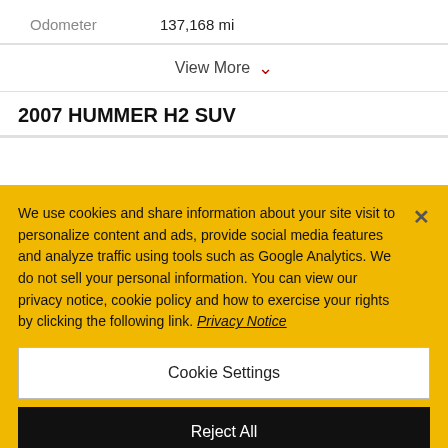Odometer	137,168 mi
View More
2007 HUMMER H2 SUV
We use cookies and share information about your site visit to personalize content and ads, provide social media features and analyze traffic using tools such as Google Analytics. We do not sell your personal information. You can view our privacy notice, cookie policy and how to exercise your rights by clicking the following link. Privacy Notice
Cookie Settings
Reject All
Accept Cookies